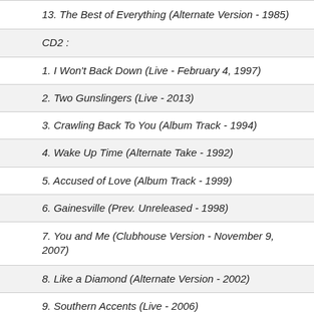13. The Best of Everything (Alternate Version - 1985)
CD2 :
1. I Won't Back Down (Live - February 4, 1997)
2. Two Gunslingers (Live - 2013)
3. Crawling Back To You (Album Track - 1994)
4. Wake Up Time (Alternate Take - 1992)
5. Accused of Love (Album Track - 1999)
6. Gainesville (Prev. Unreleased - 1998)
7. You and Me (Clubhouse Version - November 9, 2007)
8. Like a Diamond (Alternate Version - 2002)
9. Southern Accents (Live - 2006)